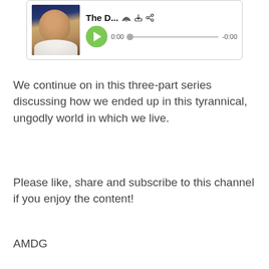[Figure (screenshot): Audio podcast player UI showing a painted portrait thumbnail on the left, title 'The D...' with RSS/download/share icons, a green play button, time display '0:00' and '-0:00', and a progress bar.]
We continue on in this three-part series discussing how we ended up in this tyrannical, ungodly world in which we live.
Please like, share and subscribe to this channel if you enjoy the content!
AMDG